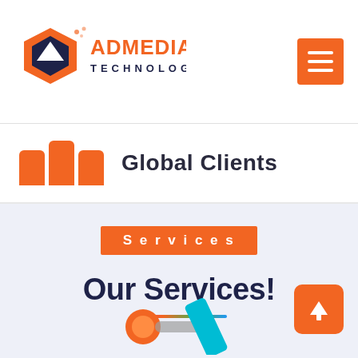[Figure (logo): AdMedia Technologies logo with orange hexagon icon and text]
[Figure (other): Orange hamburger menu button in top right corner]
Global Clients
Services
Our Services!
[Figure (other): Orange scroll-to-top button with upward arrow]
[Figure (illustration): Partial illustration at bottom of page with orange circle and teal element]